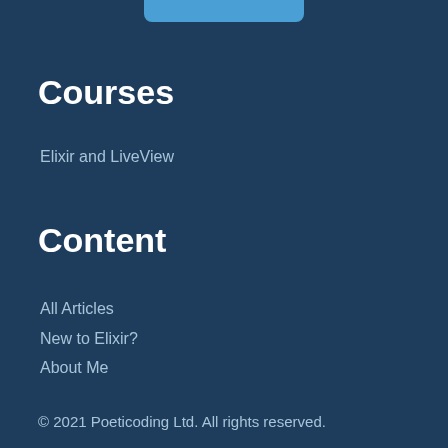[Figure (other): Rounded blue tab/button at top center of page]
Courses
Elixir and LiveView
Content
All Articles
New to Elixir?
About Me
© 2021 Poeticoding Ltd. All rights reserved.